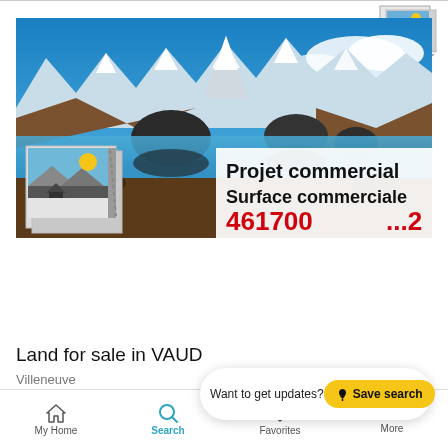[Figure (photo): Alpine landscape with mountain lake reflecting Matterhorn peak, blue sky, snowy mountains; overlay shows logo and text: Projet commercial, Surface commerciale, red numbers partially visible (461700...)]
Land for sale in VAUD
Villeneuve
Plot of land
$12,518,426
Want to get updates?  Save search
My Home   Search   Favorites   More